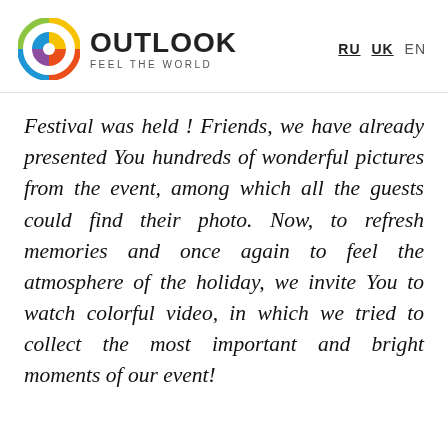OUTLOOK FEEL THE WORLD | RU UK EN
Festival was held ! Friends, we have already presented You hundreds of wonderful pictures from the event, among which all the guests could find their photo. Now, to refresh memories and once again to feel the atmosphere of the holiday, we invite You to watch colorful video, in which we tried to collect the most important and bright moments of our event!